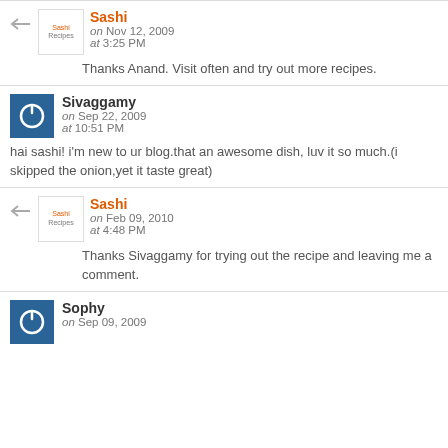Sashi — on Nov 12, 2009 at 3:25 PM
Thanks Anand. Visit often and try out more recipes.
Sivaggamy — on Sep 22, 2009 at 10:51 PM
hai sashi! i'm new to ur blog.that an awesome dish, luv it so much.(i skipped the onion,yet it taste great)
Sashi — on Feb 09, 2010 at 4:48 PM
Thanks Sivaggamy for trying out the recipe and leaving me a comment.
Sophy — on Sep 09, 2009